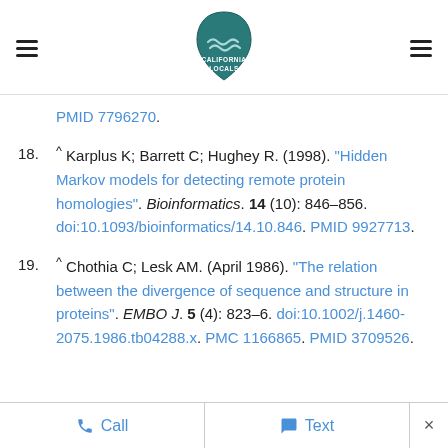California Locals logo with hamburger menu icons
PMID 7796270.
18. ^ Karplus K; Barrett C; Hughey R. (1998). "Hidden Markov models for detecting remote protein homologies". Bioinformatics. 14 (10): 846–856. doi:10.1093/bioinformatics/14.10.846. PMID 9927713.
19. ^ Chothia C; Lesk AM. (April 1986). "The relation between the divergence of sequence and structure in proteins". EMBO J. 5 (4): 823–6. doi:10.1002/j.1460-2075.1986.tb04288.x. PMC 1166865. PMID 3709526.
Call   Text   ×